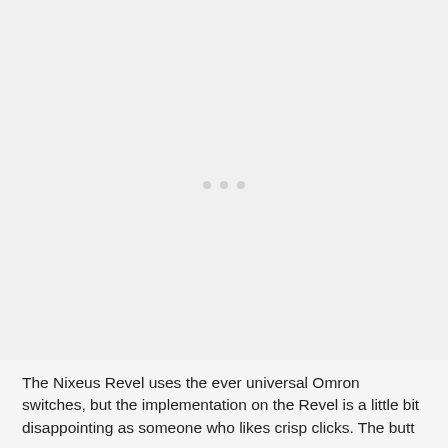[Figure (photo): Large image placeholder area with light gray background and three small dots (carousel indicators) centered in the middle of the image area.]
The Nixeus Revel uses the ever universal Omron switches, but the implementation on the Revel is a little bit disappointing as someone who likes crisp clicks. The butt...